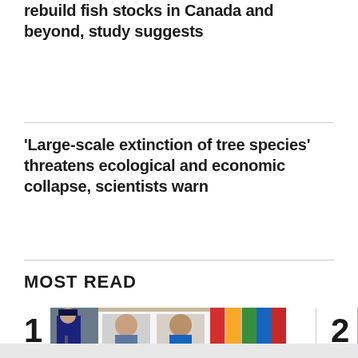rebuild fish stocks in Canada and beyond, study suggests
'Large-scale extinction of tree species' threatens ecological and economic collapse, scientists warn
MOST READ
[Figure (photo): Press conference photo showing two mugshots of individuals displayed on a board, with a police officer in uniform standing at a podium in the background, Canadian and provincial flags visible]
[Figure (photo): Partial photo of a person, cropped at right edge of page]